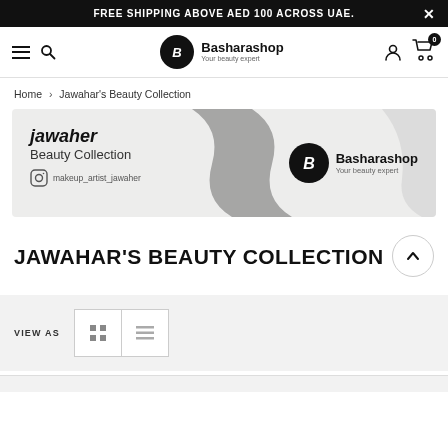FREE SHIPPING ABOVE AED 100 ACROSS UAE.
[Figure (logo): Basharashop navigation bar with hamburger menu, search icon, Basharashop logo (circle with B), brand name 'Basharashop Your beauty expert', user icon, and cart icon with badge 0]
Home > Jawahar's Beauty Collection
[Figure (illustration): Jawaher Beauty Collection banner: light gray background with dark swoosh shape, text 'jawaher Beauty Collection' with Instagram icon and 'makeup_artist_jawaher', Basharashop logo circle with 'Basharashop Your beauty expert' on right side]
JAWAHAR'S BEAUTY COLLECTION
VIEW AS